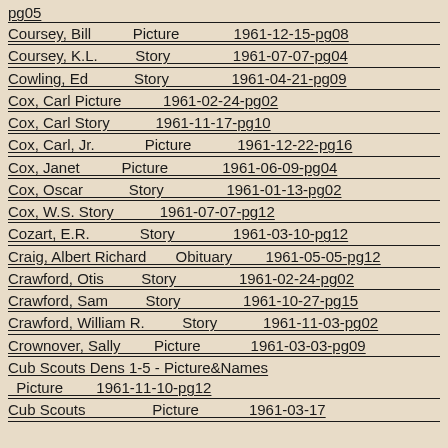pg05
Coursey, Bill   Picture   1961-12-15-pg08
Coursey, K.L.   Story   1961-07-07-pg04
Cowling, Ed   Story   1961-04-21-pg09
Cox, Carl Picture   1961-02-24-pg02
Cox, Carl Story   1961-11-17-pg10
Cox, Carl, Jr.   Picture   1961-12-22-pg16
Cox, Janet   Picture   1961-06-09-pg04
Cox, Oscar   Story   1961-01-13-pg02
Cox, W.S. Story   1961-07-07-pg12
Cozart, E.R.   Story   1961-03-10-pg12
Craig, Albert Richard   Obituary   1961-05-05-pg12
Crawford, Otis   Story   1961-02-24-pg02
Crawford, Sam   Story   1961-10-27-pg15
Crawford, William R.   Story   1961-11-03-pg02
Crownover, Sally   Picture   1961-03-03-pg09
Cub Scouts Dens 1-5 - Picture&Names Picture   1961-11-10-pg12
Cub Scouts - Picture   1961-03-17